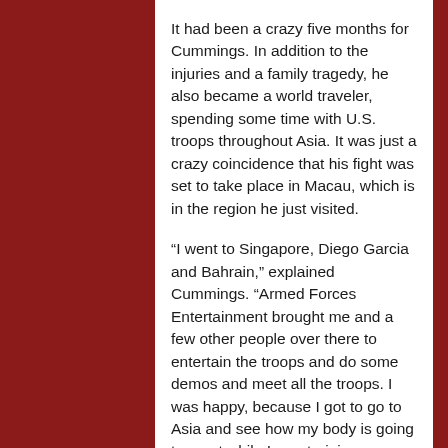It had been a crazy five months for Cummings. In addition to the injuries and a family tragedy, he also became a world traveler, spending some time with U.S. troops throughout Asia. It was just a crazy coincidence that his fight was set to take place in Macau, which is in the region he just visited.
“I went to Singapore, Diego Garcia and Bahrain,” explained Cummings. “Armed Forces Entertainment brought me and a few other people over there to entertain the troops and do some demos and meet all the troops. I was happy, because I got to go to Asia and see how my body is going to react while I was training over there. I kind of got a trial run of how my body’s going to react to the jet lag thing. I feel fine about it now. I was a little worried about it at first, but after doing that, I’m completely fine.”
Cummings’ next opponent is a decorated second-degree black belt in Brazilian Jiu-Jitsu. Mina has trained with some of the best BJJ